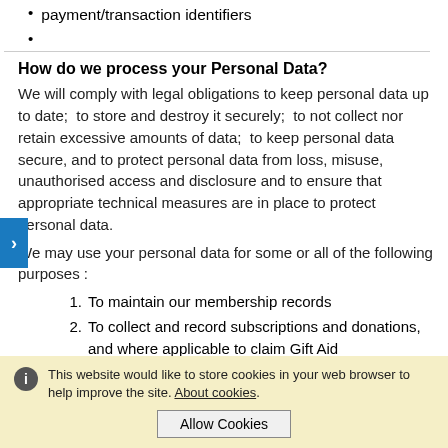payment/transaction identifiers
How do we process your Personal Data?
We will comply with legal obligations to keep personal data up to date;  to store and destroy it securely;  to not collect nor retain excessive amounts of data;  to keep personal data secure, and to protect personal data from loss, misuse, unauthorised access and disclosure and to ensure that appropriate technical measures are in place to protect personal data.
We may use your personal data for some or all of the following purposes :
To maintain our membership records
To collect and record subscriptions and donations, and where applicable to claim Gift Aid
This website would like to store cookies in your web browser to help improve the site. About cookies.